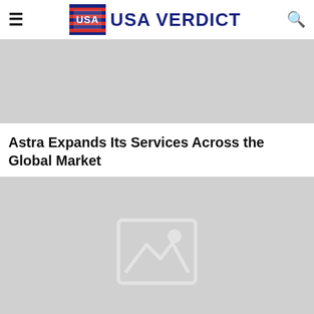USA VERDICT
[Figure (other): Gray advertisement banner placeholder]
Astra Expands Its Services Across the Global Market
[Figure (photo): Gray image placeholder with mountain/landscape icon]